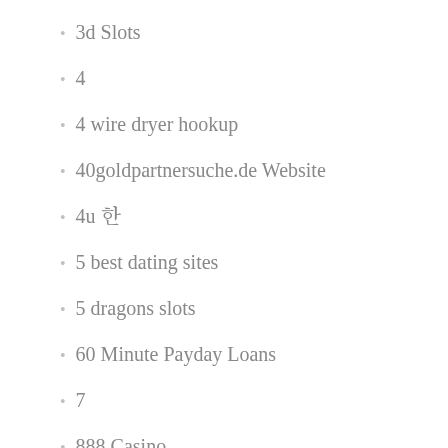3d Slots
4
4 wire dryer hookup
40goldpartnersuche.de Website
4u 슬롯머신
5 best dating sites
5 dragons slots
60 Minute Payday Loans
7
888 Casino
90Day Payday Loans